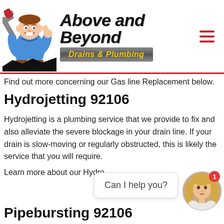[Figure (logo): Above and Beyond Drains & Plumbing logo with cartoon plumber mascot holding a wrench, company name in stylized italic font, subtitle in yellow on metallic bar]
Find out more concerning our Gas line Replacement below.
Hydrojetting 92106
Hydrojetting is a plumbing service that we provide to fix and also alleviate the severe blockage in your drain line. If your drain is slow-moving or regularly obstructed, this is likely the service that you will require.
Learn more about our Hydro
[Figure (screenshot): Chat widget with 'Can I help you?' bubble and female avatar photo with red notification badge showing 1]
Pipebursting 92106